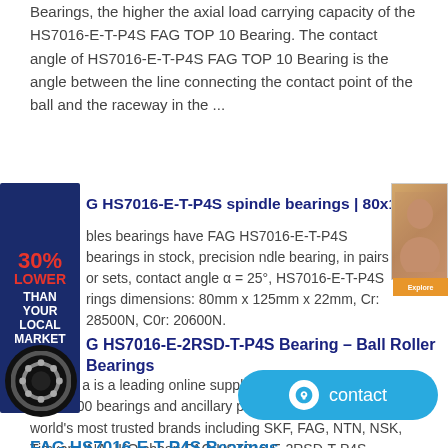Bearings, the higher the axial load carrying capacity of the HS7016-E-T-P4S FAG TOP 10 Bearing. The contact angle of HS7016-E-T-P4S FAG TOP 10 Bearing is the angle between the line connecting the contact point of the ball and the raceway in the ...
[Figure (infographic): Advertisement banner showing '30% LOWER THAN YOUR LOCAL MARKET' in red and white on dark blue background]
FAG HS7016-E-T-P4S spindle bearings | 80x125x22mm - Nod
odes bearings have FAG HS7016-E-T-P4S bearings in stock, precision ndle bearing, in pairs or sets, contact angle α = 25°, HS7016-E-T-P4S rings dimensions: 80mm x 125mm x 22mm, Cr: 28500N, C0r: 20600N.
[Figure (photo): Advertisement photo of a person on right side]
[Figure (photo): Bearing circular icon on dark background]
FAG HS7016-E-2RSD-T-P4S Bearing – Ball Roller Bearings
Bearing a is a leading online supplier and distributor of over 1,000,000 bearings and ancillary products, from some of the world's most trusted brands including SKF, FAG, NTN, NSK, Timken, INA, IKO cheap FAG HS7016-E-2RSD-T-P4S Bearing bearings for sale.
FAG HS7016-E-T-P4S Bearings -
FAG HS7016-E-T-P4S Bearings are two of our main products,FAG HS7016-C-T-P4S bearing leader bearing in Botswana can ensure high quality for more than 80% raw material of FAG HS7016-C-T-P4S bearing leader bearing in Botswana provided by the steel plant. Explorer series bearing of FA bearing leader bearing in Botswana are better than any b currently in bearing ...
[Figure (infographic): Blue contact button with chat icon and 'contact' label]